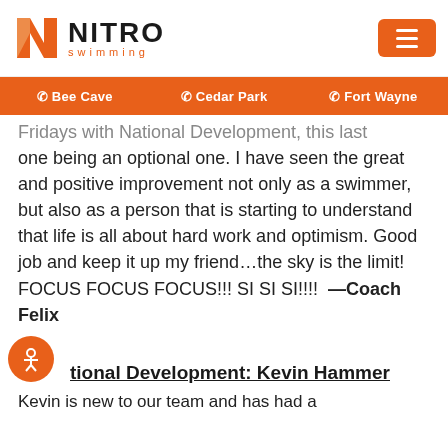NITRO swimming
Bee Cave | Cedar Park | Fort Wayne
Fridays with National Development, this last one being an optional one. I have seen the great and positive improvement not only as a swimmer, but also as a person that is starting to understand that life is all about hard work and optimism. Good job and keep it up my friend…the sky is the limit! FOCUS FOCUS FOCUS!!! SI SI SI!!!!  —Coach Felix
National Development: Kevin Hammer
Kevin is new to our team and has had a